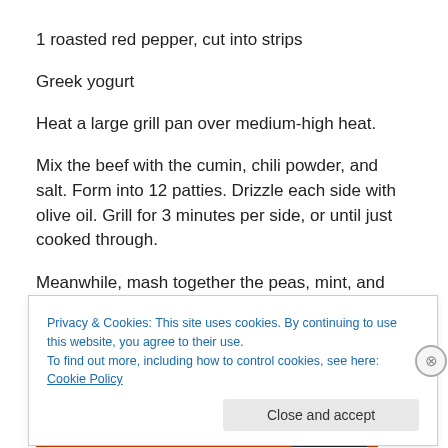1 roasted red pepper, cut into strips
Greek yogurt
Heat a large grill pan over medium-high heat.
Mix the beef with the cumin, chili powder, and salt. Form into 12 patties. Drizzle each side with olive oil. Grill for 3 minutes per side, or until just cooked through.
Meanwhile, mash together the peas, mint, and lemon zest.
Season with salt.
Privacy & Cookies: This site uses cookies. By continuing to use this website, you agree to their use.
To find out more, including how to control cookies, see here: Cookie Policy
Close and accept